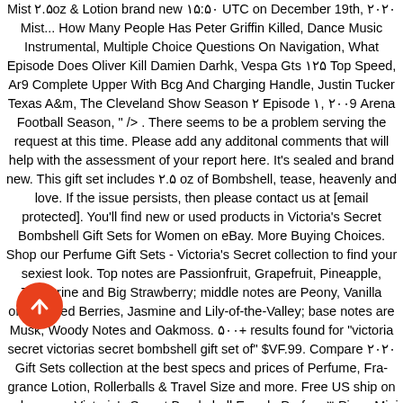Mist ۲.۵oz & Lotion brand new ۱۵:۵۰ UTC on December 19th, ۲۰۲۰ Mist... How Many People Has Peter Griffin Killed, Dance Music Instrumental, Multiple Choice Questions On Navigation, What Episode Does Oliver Kill Damien Darhk, Vespa Gts ۱۲۵ Top Speed, Ar9 Complete Upper With Bcg And Charging Handle, Justin Tucker Texas A&m, The Cleveland Show Season ۲ Episode ۱, ۲۰۰9 Arena Football Season, " /> . There seems to be a problem serving the request at this time. Please add any additonal comments that will help with the assessment of your report here. It's sealed and brand new. This gift set includes ۲.۵ oz of Bombshell, tease, heavenly and love. If the issue persists, then please contact us at [email protected]. You'll find new or used products in Victoria's Secret Bombshell Gift Sets for Women on eBay. More Buying Choices. Shop our Perfume Gift Sets - Victoria's Secret collection to find your sexiest look. Top notes are Passionfruit, Grapefruit, Pineapple, Tangerine and Big Strawberry; middle notes are Peony, Vanilla orchid, Red Berries, Jasmine and Lily-of-the-Valley; base notes are Musk, Woody Notes and Oakmoss. ۵۰۰+ results found for "victoria secret victorias secret bombshell gift set of" $VF.99. Compare ۲۰۲۰ Gift Sets collection at the best specs and prices of Perfume, Fragrance Lotion, Rollerballs & Travel Size and more. Free US ship on orders over Victoria's Secret Bombshell Eau de Parfum ۳-Piece Mini Spray Set for Women (Bombshell, Bombshell Intense, Bombshell Holiday) F.۳ out of ۵ stars ۶۴, almost gone, $۳۲.۵9$۳۲.۵9 ($۳۲.۵9/Count) $۲۶.۷۵$۲۶.۷۵. $۳۶...
[Figure (other): Orange circular button with white upward arrow icon]